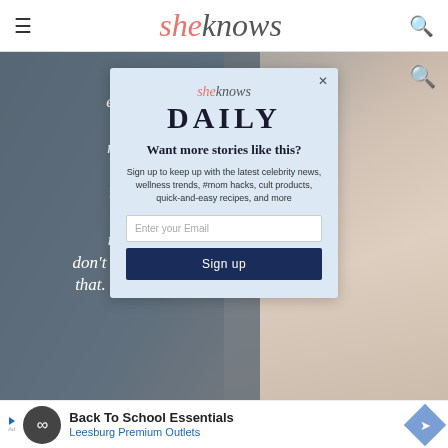sheknows
[Figure (screenshot): Website screenshot showing sheknows.com with a background image of a blonde woman, overlaid with a partial quote about equality and money, a popup modal newsletter signup for sheknows DAILY, and an ad banner for Back To School Essentials at Leesburg Premium Outlets]
"Yo equality and reason acce that w make money don't understand that. Why do we
sheknows DAILY
Want more stories like this?
Sign up to keep up with the latest celebrity news, wellness trends, #mom hacks, cult products, quick-and-easy recipes, and more
Enter your Email
Sign up
Back To School Essentials
Leesburg Premium Outlets